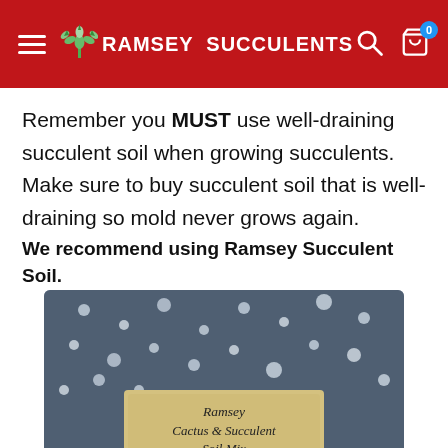Ramsey Succulents
Remember you MUST use well-draining succulent soil when growing succulents. Make sure to buy succulent soil that is well-draining so mold never grows again.
We recommend using Ramsey Succulent Soil.
[Figure (photo): A bag of Ramsey Cactus & Succulent Soil Mix with label reading: Ramsey Cactus & Succulent Soil Mix, With perlite, sand, & seaweed, Seaweed is an organic fertilizer. The bag contains dark gritty soil mix visible through clear plastic.]